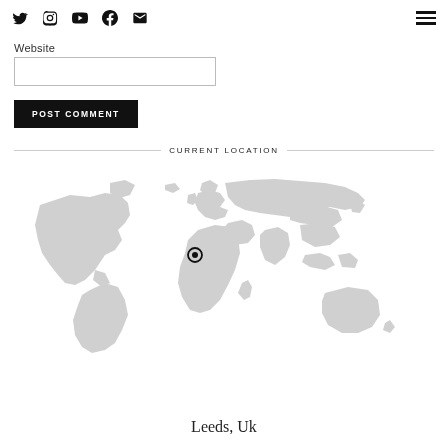Social icons: Twitter, Instagram, YouTube, Facebook, Email | Hamburger menu
Website
POST COMMENT
CURRENT LOCATION
[Figure (map): World map in light grey showing a location marker over the United Kingdom (Leeds area)]
Leeds, Uk